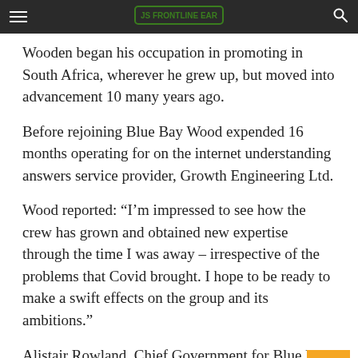[site navigation header with logo]
Wooden began his occupation in promoting in South Africa, wherever he grew up, but moved into advancement 10 many years ago.
Before rejoining Blue Bay Wood expended 16 months operating for on the internet understanding answers service provider, Growth Engineering Ltd.
Wood reported: “I’m impressed to see how the crew has grown and obtained new expertise through the time I was away – irrespective of the problems that Covid brought. I hope to be ready to make a swift effects on the group and its ambitions.”
Alistair Rowland, Chief Government for Blue B Journey, mentioned: “We have doubled our